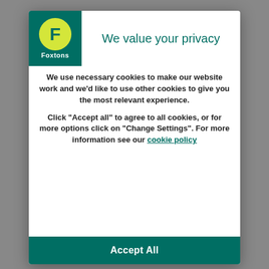[Figure (logo): Foxtons logo: green background box with yellow circle containing letter F, and 'Foxtons' text below in white]
We value your privacy
We use necessary cookies to make our website work and we'd like to use other cookies to give you the most relevant experience.
Click “Accept all” to agree to all cookies, or for more options click on “Change Settings”. For more information see our cookie policy